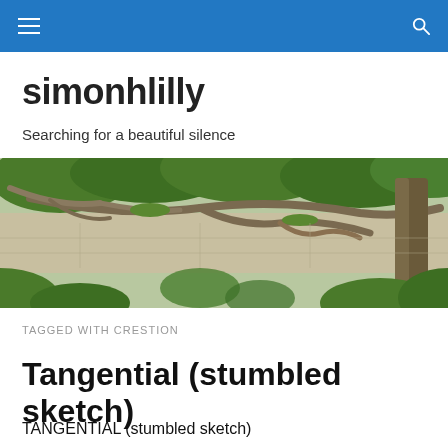simonhlilly navigation bar
simonhlilly
Searching for a beautiful silence
[Figure (photo): Panoramic photo of gnarled tree branches with green foliage and mossy bark against a light sky background]
TAGGED WITH CRESTION
Tangential (stumbled sketch)
TANGENTIAL (stumbled sketch)